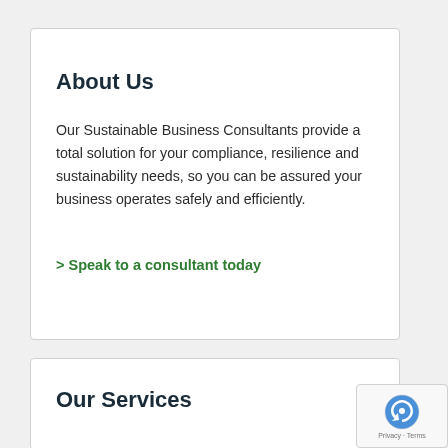About Us
Our Sustainable Business Consultants provide a total solution for your compliance, resilience and sustainability needs, so you can be assured your business operates safely and efficiently.
> Speak to a consultant today
Our Services